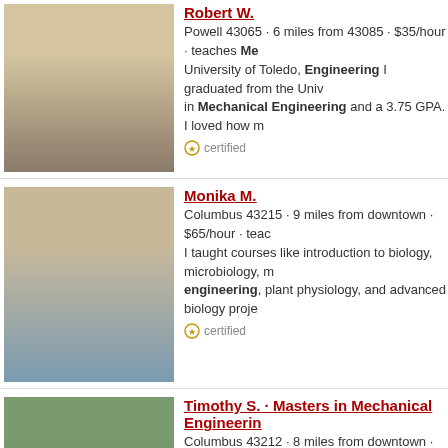[Figure (photo): Profile photo of Robert W., bearded man]
Robert W.
Powell 43065 · 6 miles from 43085 · $35/hour · teaches Me University of Toledo, Engineering I graduated from the Univ in Mechanical Engineering and a 3.75 GPA. I loved how m
certified
[Figure (photo): Profile photo of Monika M., smiling woman]
Monika M.
Columbus 43215 · 9 miles from downtown · $65/hour · teac I taught courses like introduction to biology, microbiology, m engineering, plant physiology, and advanced biology proje
certified
[Figure (photo): Profile photo of Timothy S. in graduation cap and gown]
Timothy S. · Masters in Mechanical Engineerin Columbus 43212 · 8 miles from downtown · $30/hour · teac 3 years tutoring in a group and one-on-one setting. Graduat Mechanical Engineering from Oklahoma state with a 3.89
member for 10 years and 5 months
[Figure (photo): Profile photo of Rabindra B., older man with glasses]
Rabindra B.
Dublin 43016 · 5 miles from 43085 · $20/hour · teaches Alg I'm a retired chemical engineer. My wife and I've raised thre citizens. For 15 years I was a volunteer coach for math team
certified